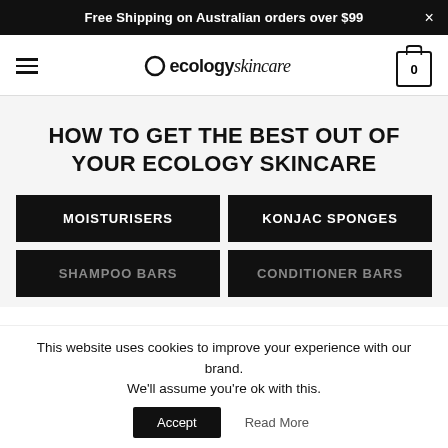Free Shipping on Australian orders over $99
[Figure (logo): Ecology Skincare logo with hamburger menu and cart icon]
HOW TO GET THE BEST OUT OF YOUR ECOLOGY SKINCARE
MOISTURISERS
KONJAC SPONGES
SHAMPOO BARS
CONDITIONER BARS
This website uses cookies to improve your experience with our brand. We'll assume you're ok with this.
Accept  Read More